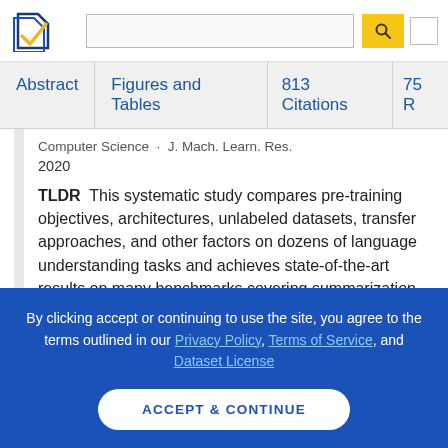[Figure (logo): Semantic Scholar logo - blue book/page icon with gold checkmark]
Computer Science · J. Mach. Learn. Res.
2020
TLDR  This systematic study compares pre-training objectives, architectures, unlabeled datasets, transfer approaches, and other factors on dozens of language understanding tasks and achieves state-of-the-art results on many benchmarks covering summarization, question answering, text classification, and
By clicking accept or continuing to use the site, you agree to the terms outlined in our Privacy Policy, Terms of Service, and Dataset License
ACCEPT & CONTINUE